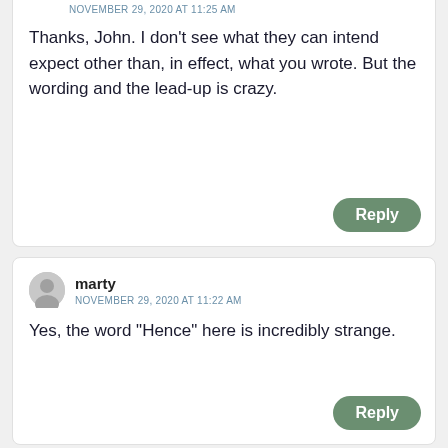NOVEMBER 29, 2020 AT 11:25 AM
Thanks, John. I don’t see what they can intend expect other than, in effect, what you wrote. But the wording and the lead-up is crazy.
Reply
marty
NOVEMBER 29, 2020 AT 11:22 AM
Yes, the word “Hence” here is incredibly strange.
Reply
SRK